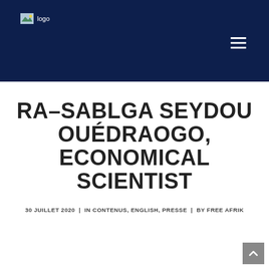logo
RA–SABLGA SEYDOU OUÉDRAOGO, ECONOMICAL SCIENTIST
30 JUILLET 2020  |  IN CONTENUS, ENGLISH, PRESSE  |  BY FREE AFRIK